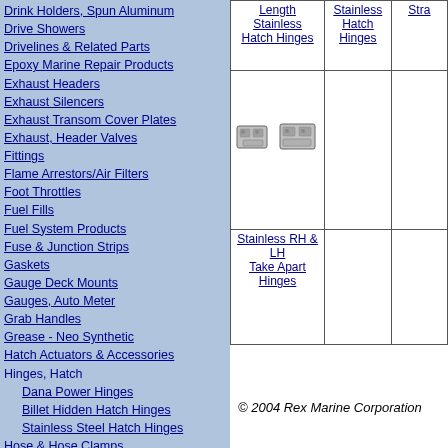Drink Holders, Spun Aluminum
Drive Showers
Drivelines & Related Parts
Epoxy Marine Repair Products
Exhaust Headers
Exhaust Silencers
Exhaust Transom Cover Plates
Exhaust, Header Valves
Fittings
Flame Arrestors/Air Filters
Foot Throttles
Fuel Fills
Fuel System Products
Fuse & Junction Strips
Gaskets
Gauge Deck Mounts
Gauges, Auto Meter
Grab Handles
Grease - Neo Synthetic
Hatch Actuators & Accessories
Hinges, Hatch
Dana Power Hinges
Billet Hidden Hatch Hinges
Stainless Steel Hatch Hinges
Hose & Hose Clamps
Impellers, Water Pump
Jet Pump Tools
Kill Switches
Lights
Marine Oil Pans
Motor Mounts
Oil Caps, Valve Cover
Oil Coolers & Brackets
Outboard Products
Paddles & Paddle Clips
Prop Nuts & Kits
Prop Puller, Steel
Prop Shafts (V-Drive, Inboard)
Puke Tanks, Oil
Rub Rail, Trim, & Molding
Sea Strainers
| Length Stainless Hatch Hinges | Stainless Hatch Hinges | Stra... |
| --- | --- | --- |
| [image of hatch hinges] |  |  |
| Stainless RH & LH Take Apart Hinges |  |  |
© 2004 Rex Marine Corporation